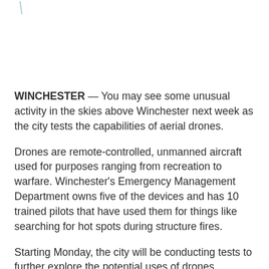[Figure (photo): Top portion of page with partial image area; a small teal/blue tick or line mark visible at top-left corner against white background.]
WINCHESTER — You may see some unusual activity in the skies above Winchester next week as the city tests the capabilities of aerial drones.
Drones are remote-controlled, unmanned aircraft used for purposes ranging from recreation to warfare. Winchester's Emergency Management Department owns five of the devices and has 10 trained pilots that have used them for things like searching for hot spots during structure fires.
Starting Monday, the city will be conducting tests to further explore the potential uses of drones